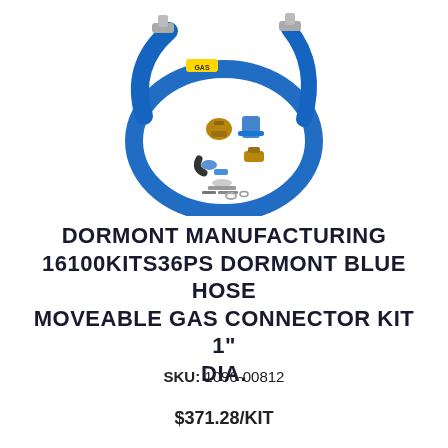[Figure (photo): Blue gas connector hose coiled in a circle with fittings, valves, and connector hardware components displayed inside the coil. Product is labeled 'GAS' on a yellow tag near the top.]
DORMONT MANUFACTURING 16100KITS36PS DORMONT BLUE HOSE MOVEABLE GAS CONNECTOR KIT 1" DIA.
SKU: 1090-00812
$371.28/KIT